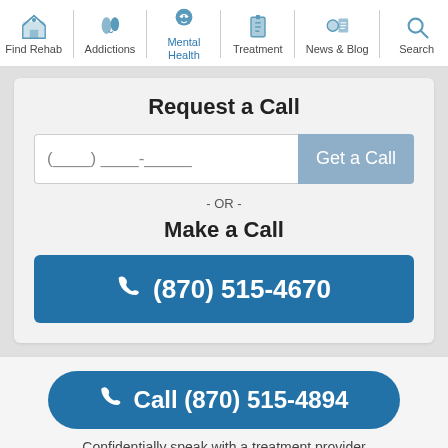Find Rehab | Addictions | Mental Health | Treatment | News & Blog | Search
Request a Call
(___) ___-____
Get a Call
- OR -
Make a Call
(870) 515-4670
Call (870) 515-4894
Confidentially speak with a treatment provider